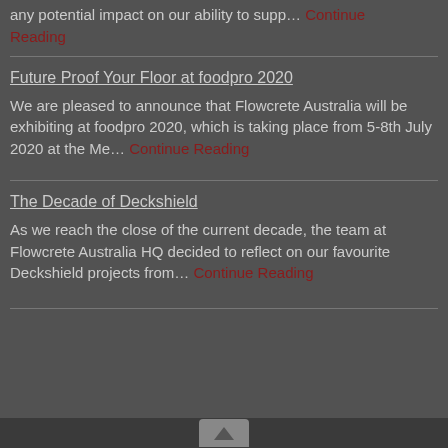any potential impact on our ability to supp… Continue Reading
Future Proof Your Floor at foodpro 2020
We are pleased to announce that Flowcrete Australia will be exhibiting at foodpro 2020, which is taking place from 5-8th July 2020 at the Me… Continue Reading
The Decade of Deckshield
As we reach the close of the current decade, the team at Flowcrete Australia HQ decided to reflect on our favourite Deckshield projects from… Continue Reading